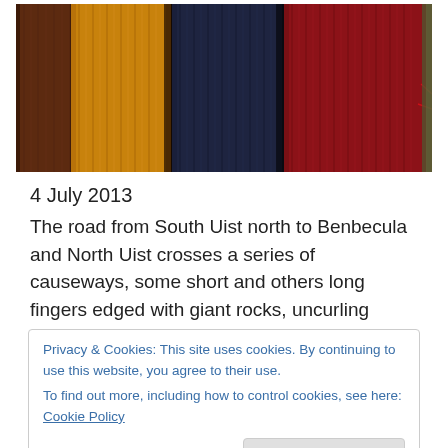[Figure (photo): Close-up photograph of colorful thread/yarn spools in orange/gold, dark navy blue, and deep red/crimson colors arranged side by side]
4 July 2013
The road from South Uist north to Benbecula and North Uist crosses a series of causeways, some short and others long fingers edged with giant rocks, uncurling
Privacy & Cookies: This site uses cookies. By continuing to use this website, you agree to their use.
To find out more, including how to control cookies, see here: Cookie Policy
start then it is blown away and the sun appears, dancing